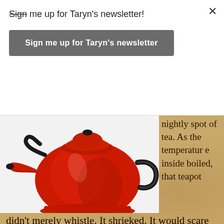Sign me up for Taryn's newsletter!
Sign me up for Taryn's newsletter
[Figure (photo): Red enameled teapot/kettle with black handle and knob on white background]
nightly spot of tea. As the temperature inside boiled, that teapot didn't merely whistle. It shrieked. It would scare my guests, probably even my neighbors down the street. It sounded like a child or animal being tortured. When the screech reached its